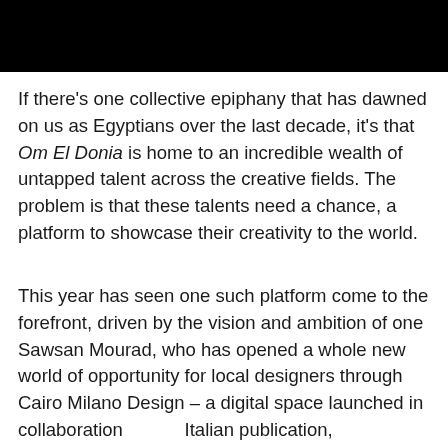[Figure (photo): Black rectangular bar at the top of the page, appears to be a cropped image with black fill]
If there's one collective epiphany that has dawned on us as Egyptians over the last decade, it's that Om El Donia is home to an incredible wealth of untapped talent across the creative fields. The problem is that these talents need a chance, a platform to showcase their creativity to the world.
This year has seen one such platform come to the forefront, driven by the vision and ambition of one Sawsan Mourad, who has opened a whole new world of opportunity for local designers through Cairo Milano Design – a digital space launched in collaboration with Italian publication, Fuorisalone, which plays the role of official online guide of Milan Design Week and